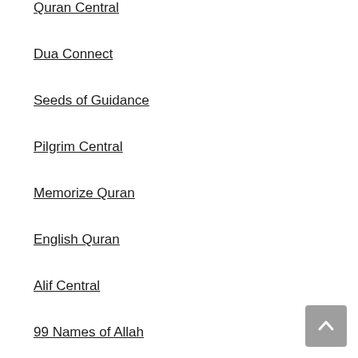Quran Central
Dua Connect
Seeds of Guidance
Pilgrim Central
Memorize Quran
English Quran
Alif Central
99 Names of Allah
Muhammad (SAW)
Muslim Radio
Connect
Facebook
Twitter